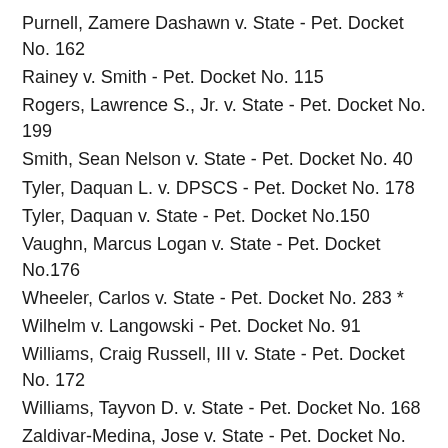Purnell, Zamere Dashawn v. State - Pet. Docket No. 162
Rainey v. Smith - Pet. Docket No. 115
Rogers, Lawrence S., Jr. v. State - Pet. Docket No. 199
Smith, Sean Nelson v. State - Pet. Docket No. 40
Tyler, Daquan L. v. DPSCS - Pet. Docket No. 178
Tyler, Daquan v. State - Pet. Docket No.150
Vaughn, Marcus Logan v. State - Pet. Docket No.176
Wheeler, Carlos v. State - Pet. Docket No. 283 *
Wilhelm v. Langowski - Pet. Docket No. 91
Williams, Craig Russell, III v. State - Pet. Docket No. 172
Williams, Tayvon D. v. State - Pet. Docket No. 168
Zaldivar-Medina, Jose v. State - Pet. Docket No. 164